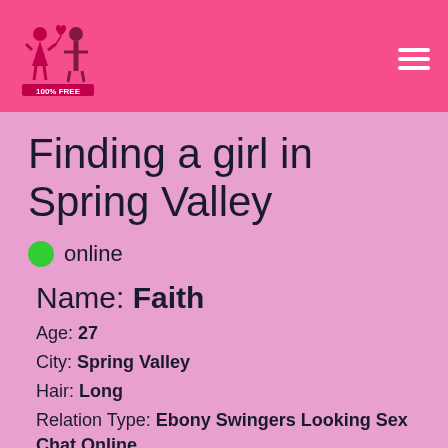[Figure (logo): Dating site logo with two figures and '100% FREE' text on pink header bar]
Finding a girl in Spring Valley
online
Name: Faith
Age: 27
City: Spring Valley
Hair: Long
Relation Type: Ebony Swingers Looking Sex Chat Online
Seeking: I Search Dating